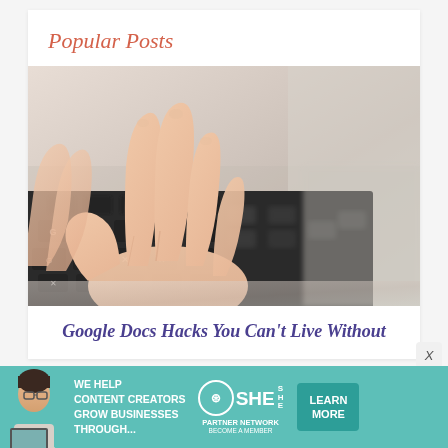Popular Posts
[Figure (photo): Close-up photo of hands typing on a dark laptop keyboard, warm skin tones against black keys]
Google Docs Hacks You Can't Live Without
[Figure (infographic): Advertisement banner: SHE Partner Network - We help content creators grow businesses through... Learn More button, teal background]